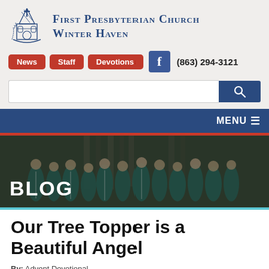[Figure (logo): First Presbyterian Church Winter Haven logo with church steeple illustration and church name text]
News  Staff  Devotions  (863) 294-3121
[Figure (screenshot): Search bar with blue search button]
MENU
[Figure (photo): Choir members in teal robes singing in a church, with BLOG label overlay]
Our Tree Topper is a Beautiful Angel
By: Advent Devotional